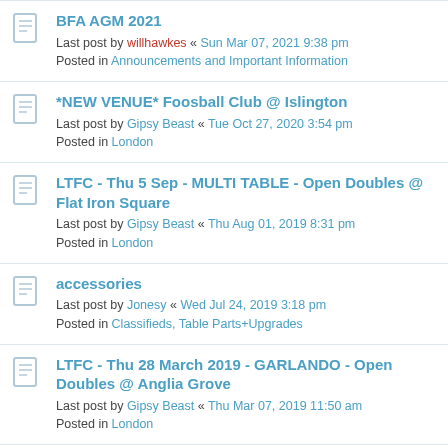BFA AGM 2021 - Last post by willhawkes « Sun Mar 07, 2021 9:38 pm - Posted in Announcements and Important Information
*NEW VENUE* Foosball Club @ Islington - Last post by Gipsy Beast « Tue Oct 27, 2020 3:54 pm - Posted in London
LTFC - Thu 5 Sep - MULTI TABLE - Open Doubles @ Flat Iron Square - Last post by Gipsy Beast « Thu Aug 01, 2019 8:31 pm - Posted in London
accessories - Last post by Jonesy « Wed Jul 24, 2019 3:18 pm - Posted in Classifieds, Table Parts+Upgrades
LTFC - Thu 28 March 2019 - GARLANDO - Open Doubles @ Anglia Grove - Last post by Gipsy Beast « Thu Mar 07, 2019 11:50 am - Posted in London
LTFC- Fri 15 Feb - TORNADO - Open Doubles @ Anglia